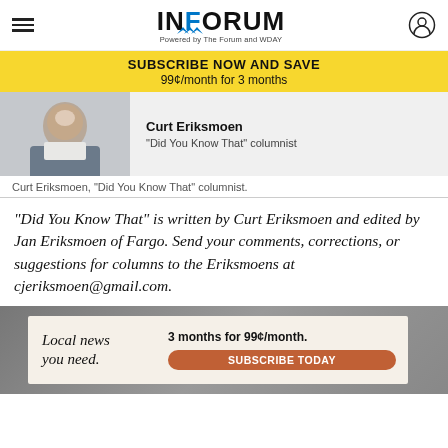INFORUM - Powered by The Forum and WDAY
SUBSCRIBE NOW AND SAVE 99¢/month for 3 months
[Figure (photo): Headshot photo of Curt Eriksmoen with name and title 'Did You Know That' columnist]
Curt Eriksmoen, "Did You Know That" columnist.
“Did You Know That” is written by Curt Eriksmoen and edited by Jan Eriksmoen of Fargo. Send your comments, corrections, or suggestions for columns to the Eriksmoens at cjeriksmoen@gmail.com.
[Figure (photo): Advertisement banner: Local news you need. 3 months for 99¢/month. Subscribe Today button.]